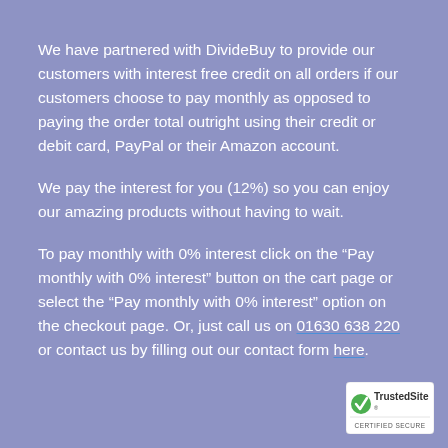We have partnered with DivideBuy to provide our customers with interest free credit on all orders if our customers choose to pay monthly as opposed to paying the order total outright using their credit or debit card, PayPal or their Amazon account.
We pay the interest for you (12%) so you can enjoy our amazing products without having to wait.
To pay monthly with 0% interest click on the “Pay monthly with 0% interest” button on the cart page or select the “Pay monthly with 0% interest” option on the checkout page. Or, just call us on 01630 638 220 or contact us by filling out our contact form here.
[Figure (logo): TrustedSite Certified Secure badge - green checkmark with TrustedSite logo and CERTIFIED SECURE text]